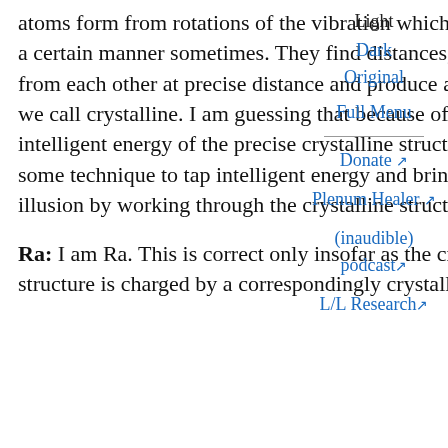atoms form from rotations of the vibration which is light, they coalesce in a certain manner sometimes. They find distances, inter-atomic distances from each other at precise distance and produce a lattice structure which we call crystalline. I am guessing that because of the formation from intelligent energy of the precise crystalline structure that it is possible by some technique to tap intelligent energy and bring it into the physical illusion by working through the crystalline structure. Is this correct?
Ra: I am Ra. This is correct only insofar as the crystalline physical structure is charged by a correspondingly crystallized or regularized or
Light
Dark
Original
Full Menu
Donate ↗
Plenum Healer ↗
(inaudible) podcast ↗
L/L Research ↗